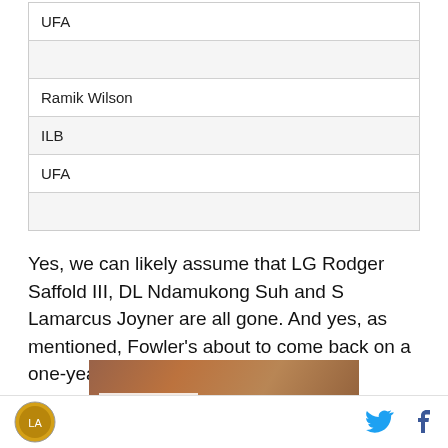| UFA |
|  |
| Ramik Wilson |
| ILB |
| UFA |
|  |
Yes, we can likely assume that LG Rodger Saffold III, DL Ndamukong Suh and S Lamarcus Joyner are all gone. And yes, as mentioned, Fowler's about to come back on a one-year look.
[Figure (other): Advertisement banner with Top Articles label and crowd image background]
Rams logo, Twitter icon, Facebook icon